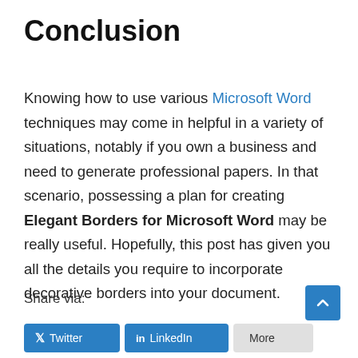Conclusion
Knowing how to use various Microsoft Word techniques may come in helpful in a variety of situations, notably if you own a business and need to generate professional papers. In that scenario, possessing a plan for creating Elegant Borders for Microsoft Word may be really useful. Hopefully, this post has given you all the details you require to incorporate decorative borders into your document.
Share via: